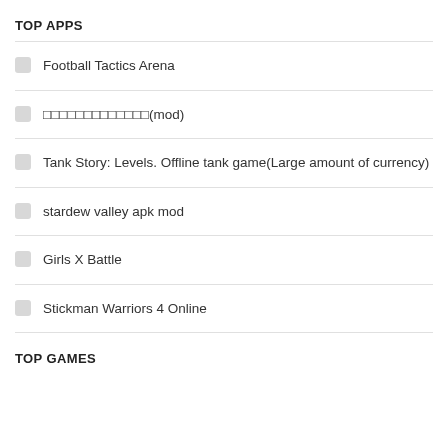TOP APPS
Football Tactics Arena
             (mod)
Tank Story: Levels. Offline tank game(Large amount of currency)
stardew valley apk mod
Girls X Battle
Stickman Warriors 4 Online
TOP GAMES